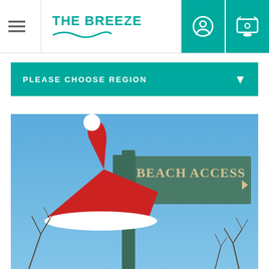THE BREEZE
PLEASE CHOOSE REGION
[Figure (photo): A green wooden beach access sign with a red and white Santa Claus hat placed on top of it, photographed against a blue sky. The sign reads 'BEACH ACCESS' with an arrow pointing right.]